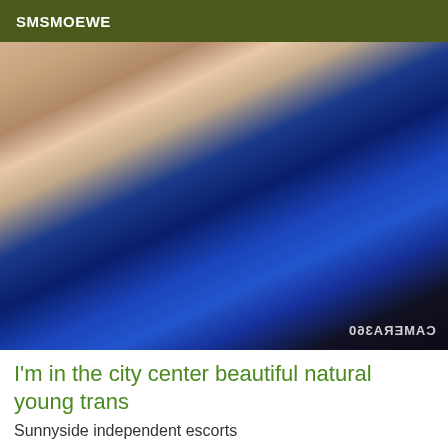SMSMOEWE
[Figure (photo): Photo of a woman wearing a blue satin and black lace corset/lingerie top, with red hair, lying down. Watermark text reads CAMERA360 mirrored.]
I'm in the city center beautiful natural young trans
Sunnyside independent escorts